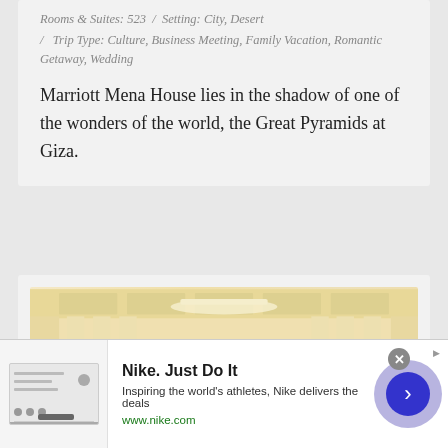Rooms & Suites: 523  /  Setting: City, Desert  /  Trip Type: Culture, Business Meeting, Family Vacation, Romantic Getaway, Wedding
Marriott Mena House lies in the shadow of one of the wonders of the world, the Great Pyramids at Giza.
[Figure (photo): Interior hallway of a luxury hotel with white columns, ornate ceiling, wall sconces, and warm lighting]
[Figure (infographic): Nike advertisement banner: 'Nike. Just Do It' with subtitle 'Inspiring the world's athletes, Nike delivers the deals' and URL www.nike.com]